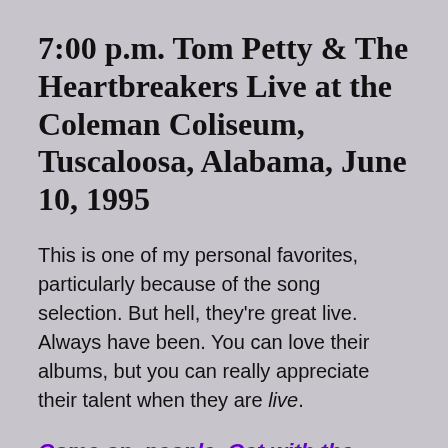7:00 p.m. Tom Petty & The Heartbreakers Live at the Coleman Coliseum, Tuscaloosa, Alabama, June 10, 1995
This is one of my personal favorites, particularly because of the song selection. But hell, they're great live. Always have been. You can love their albums, but you can really appreciate their talent when they are live.
Come on, people. Get with the program. Today.